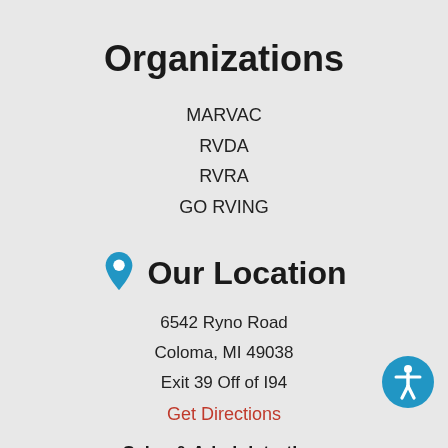Organizations
MARVAC
RVDA
RVRA
GO RVING
Our Location
6542 Ryno Road
Coloma, MI 49038
Exit 39 Off of I94
Get Directions
Sales & Administration: